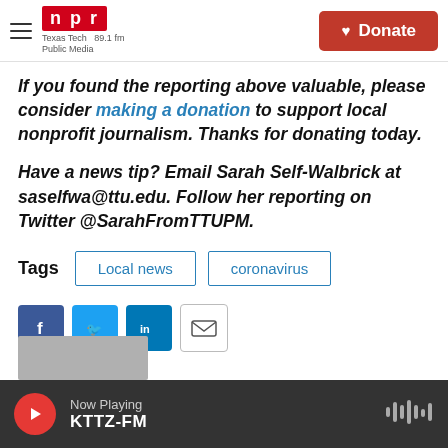NPR Texas Tech Public Media 89.1 fm | Donate
If you found the reporting above valuable, please consider making a donation to support local nonprofit journalism. Thanks for donating today.
Have a news tip? Email Sarah Self-Walbrick at saselfwa@ttu.edu. Follow her reporting on Twitter @SarahFromTTUPM.
Tags   Local news   coronavirus
[Figure (screenshot): Social share buttons: Facebook, Twitter, LinkedIn, Email]
[Figure (photo): Partial photo of a person at the bottom of the page]
Now Playing  KTTZ-FM